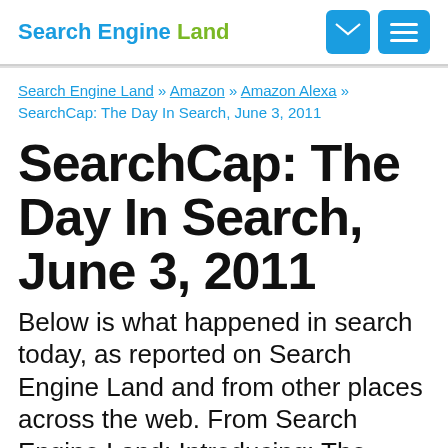Search Engine Land
Search Engine Land » Amazon » Amazon Alexa » SearchCap: The Day In Search, June 3, 2011
SearchCap: The Day In Search, June 3, 2011
Below is what happened in search today, as reported on Search Engine Land and from other places across the web. From Search Engine Land: Introducing: The Periodic Table Of SEO Ranking Factors